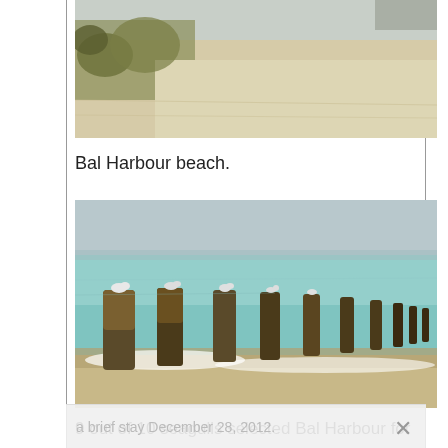[Figure (photo): Partial beach photo showing sandy beach with dune grass at top of page (cropped)]
Bal Harbour beach.
[Figure (photo): Photo of wooden pier posts/pilings in turquoise ocean water with seagulls perched on top, waves on sandy beach in foreground]
9 out of 10 seagulls selected Bal Harbour for
a brief stay December 28, 2012.